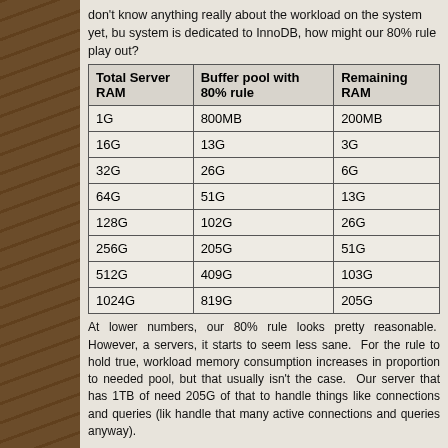don't know anything really about the workload on the system yet, but if the system is dedicated to InnoDB, how might our 80% rule play out?
| Total Server RAM | Buffer pool with 80% rule | Remaining RAM |
| --- | --- | --- |
| 1G | 800MB | 200MB |
| 16G | 13G | 3G |
| 32G | 26G | 6G |
| 64G | 51G | 13G |
| 128G | 102G | 26G |
| 256G | 205G | 51G |
| 512G | 409G | 103G |
| 1024G | 819G | 205G |
At lower numbers, our 80% rule looks pretty reasonable. However, as servers, it starts to seem less sane. For the rule to hold true, workload memory consumption increases in proportion to needed pool, but that usually isn't the case. Our server that has 1TB of need 205G of that to handle things like connections and queries (lik handle that many active connections and queries anyway).
So, if you really just spent all that money on a beefy server do you r 20% tax on that resource because of this rule of thumb?